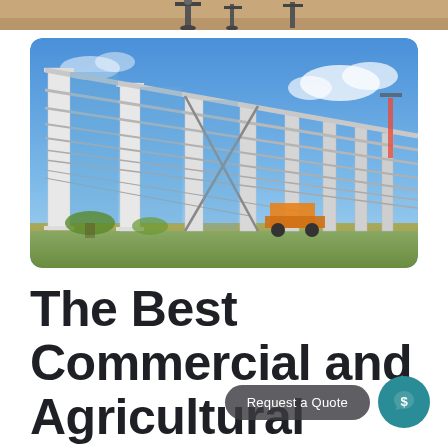[Figure (photo): Top strip showing construction equipment (crane/aerial lift) against a warm background, partial view cropped at top of page]
[Figure (photo): Steel building frame under construction with white vertical columns and diagonal cross-bracing against a blue sky, showing a large commercial or agricultural steel structure being erected]
The Best Commercial and Agricultural Steel
Request a Quote